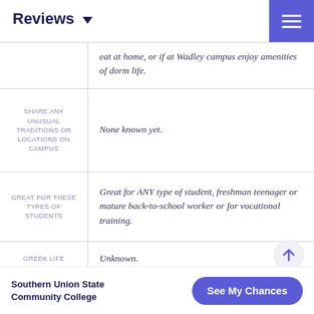Reviews
eat at home, or if at Wadley campus enjoy amenities of dorm life.
| Category | Response |
| --- | --- |
| SHARE ANY UNUSUAL TRADITIONS OR LOCATIONS ON CAMPUS | None known yet. |
| GREAT FOR THESE TYPES OF STUDENTS | Great for ANY type of student, freshman teenager or mature back-to-school worker or for vocational training. |
| GREEK LIFE | Unknown. |
| CAMPUS | Small campus with on-site security, many local |
Southern Union State Community College
See My Chances